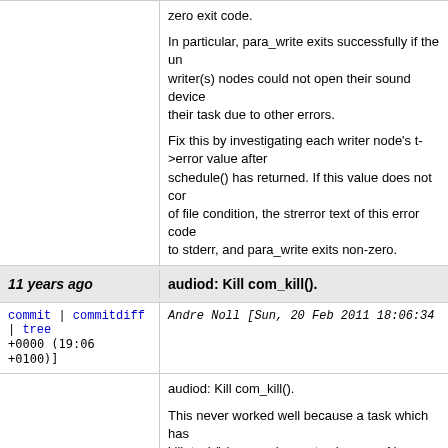zero exit code. In particular, para_write exits successfully if the underlying writer(s) nodes could not open their sound device or could not accomplish their task due to other errors.

Fix this by investigating each writer node's t->error value after schedule() has returned. If this value does not correspond to an end of file condition, the strerror text of this error code is printed to stderr, and para_write exits non-zero.
11 years ago | audiod: Kill com_kill().
commit | commitdiff | tree  Andre Noll [Sun, 20 Feb 2011 18:06:34 +0000 (19:06 +0100)]
audiod: Kill com_kill().

This never worked well because a task which has been killed by kill_task() has no chance to clean up. Also a stale buffer tree remains if the task had an associated buffer tree n
11 years ago | Use curses_cppflags only for building gui.o.
commit | commitdiff | tree  Andre Noll [Mon, 28 Feb 2011 10:00:58 +0000 (11:00 +0100)]